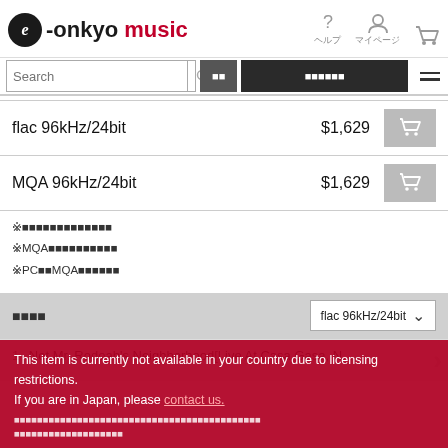[Figure (logo): e-onkyo music logo with circle e and red 'music' text]
[Figure (screenshot): Navigation bar with search box, Japanese menu buttons, and hamburger menu]
| Format | Price | Action |
| --- | --- | --- |
| flac 96kHz/24bit | ￥1,629 | cart |
| MQA 96kHz/24bit | ￥1,629 | cart |
※このアルバムはハイレゾ音源です
※MQAはロスレス音源です
※PCでMQAを聴く方法
曲目リスト — flac 96kHz/24bit dropdown
1　Not Mr. Rodoah's Neighborhood[Live At Casa Gasa, N...
This item is currently not available in your country due to licensing restrictions. If you are in Japan, please contact us.
Japanese licensing restriction notice text (rendered as ■■■ placeholder characters)